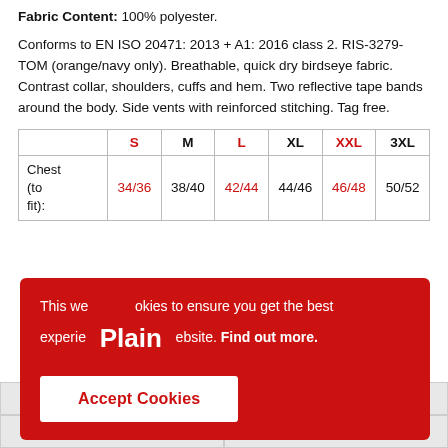Fabric Content: 100% polyester.
Conforms to EN ISO 20471: 2013 + A1: 2016 class 2. RIS-3279-TOM (orange/navy only). Breathable, quick dry birdseye fabric. Contrast collar, shoulders, cuffs and hem. Two reflective tape bands around the body. Side vents with reinforced stitching. Tag free.
|  | S | M | L | XL | XXL | 3XL |
| --- | --- | --- | --- | --- | --- | --- |
| Chest (to fit): | 34/36 | 38/40 | 42/44 | 44/46 | 46/48 | 50/52 |
This we okies to ensure you get the best experie Plain ebsite. Find out more.
Accept Cookies
| 25+ £8.98 | 50+ £8.57 |
| 100+ £8.40 | 200+ £8.11 |